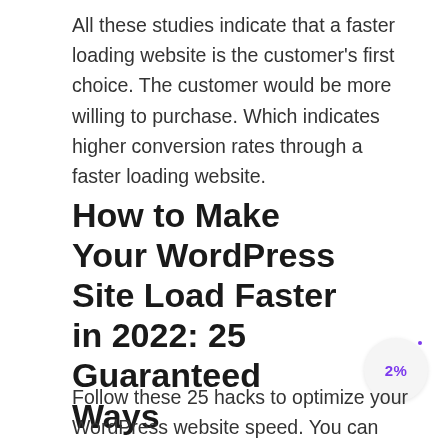All these studies indicate that a faster loading website is the customer's first choice. The customer would be more willing to purchase. Which indicates higher conversion rates through a faster loading website.
How to Make Your WordPress Site Load Faster in 2022: 25 Guaranteed Ways
Follow these 25 hacks to optimize your WordPress website speed. You can optimize your site speed without writing any single line of